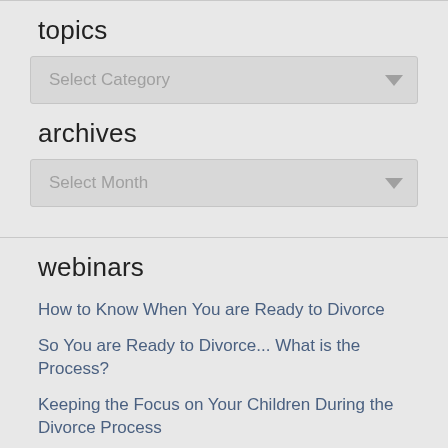topics
[Figure (screenshot): Dropdown selector labeled 'Select Category']
archives
[Figure (screenshot): Dropdown selector labeled 'Select Month']
webinars
How to Know When You are Ready to Divorce
So You are Ready to Divorce... What is the Process?
Keeping the Focus on Your Children During the Divorce Process
Divorcing an Abusive Spouse: What Do You Need to Know?
How Divorce Impacts Your Teen's College Plans